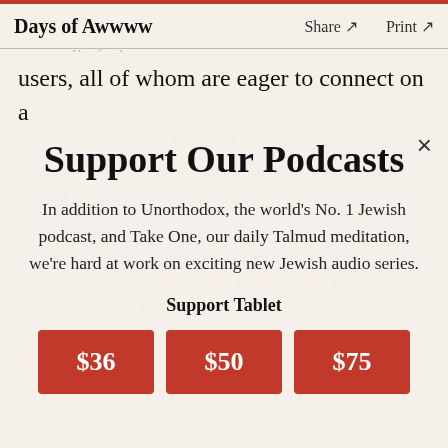Days of Awwww   Share ↗   Print ↗
users, all of whom are eager to connect on a
Support Our Podcasts
In addition to Unorthodox, the world's No. 1 Jewish podcast, and Take One, our daily Talmud meditation, we're hard at work on exciting new Jewish audio series.
Support Tablet
$36   $50   $75